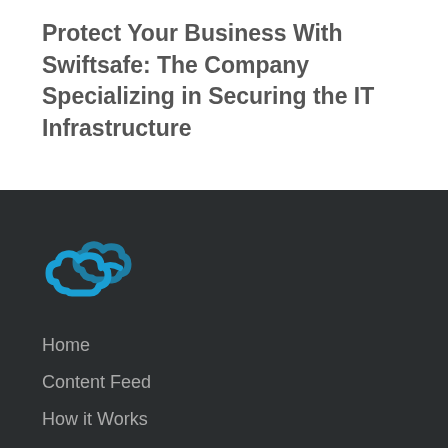Protect Your Business With Swiftsafe: The Company Specializing in Securing the IT Infrastructure
[Figure (logo): Swiftsafe cloud logo — two overlapping cloud shapes outlined in blue on dark background]
Home
Content Feed
How it Works
FAQ
Press Release Feed